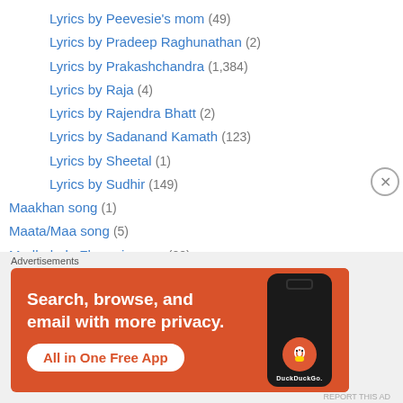Lyrics by Peevesie's mom (49)
Lyrics by Pradeep Raghunathan (2)
Lyrics by Prakashchandra (1,384)
Lyrics by Raja (4)
Lyrics by Rajendra Bhatt (2)
Lyrics by Sadanand Kamath (123)
Lyrics by Sheetal (1)
Lyrics by Sudhir (149)
Maakhan song (1)
Maata/Maa song (5)
Madhubala Zhaveri songs (28)
Madhubala Zhaveri solo (11)
Madhura Shantaram Songs (1)
Madhura Shantaram Solo Songs (1)
[Figure (screenshot): DuckDuckGo advertisement: Search, browse, and email with more privacy. All in One Free App.]